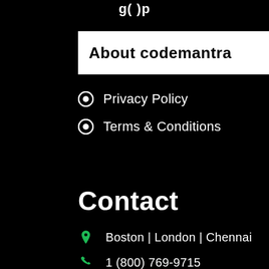g( )p
About codemantra
Privacy Policy
Terms & Conditions
Contact
Boston | London | Chennai
1 (800) 769-9715
info@codemantra.com